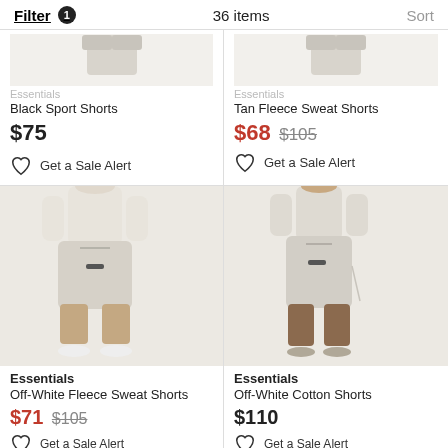Filter 1   36 items   Sort
[Figure (photo): Partial view of two product images at top of page: grey shorts on models (cropped)]
Essentials
Black Sport Shorts
$75
Get a Sale Alert
Essentials
Tan Fleece Sweat Shorts
$68  $105
Get a Sale Alert
[Figure (photo): Model wearing Off-White Fleece Sweat Shorts, light beige/off-white color, drawstring waist]
[Figure (photo): Model wearing Off-White Cotton Shorts, light beige/off-white color, drawstring waist]
Essentials
Off-White Fleece Sweat Shorts
$71  $105
Get a Sale Alert
Essentials
Off-White Cotton Shorts
$110
Get a Sale Alert